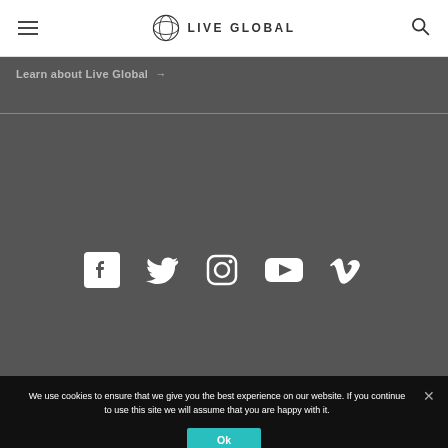LIVE GLOBAL
Learn about Live Global →
[Figure (illustration): Social media icons row: Facebook, Twitter, Instagram, YouTube, Vimeo displayed as white icons on dark grey background]
We use cookies to ensure that we give you the best experience on our website. If you continue to use this site we will assume that you are happy with it.
Ok